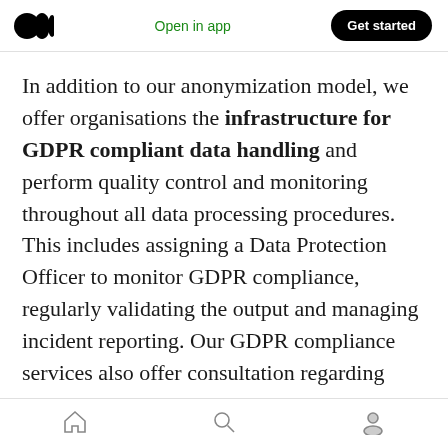Open in app | Get started
In addition to our anonymization model, we offer organisations the infrastructure for GDPR compliant data handling and perform quality control and monitoring throughout all data processing procedures. This includes assigning a Data Protection Officer to monitor GDPR compliance, regularly validating the output and managing incident reporting. Our GDPR compliance services also offer consultation regarding GDPR regulations, processes, and documentation, such as the Data Processing Agreement, required in Europe.
Home | Search | Profile